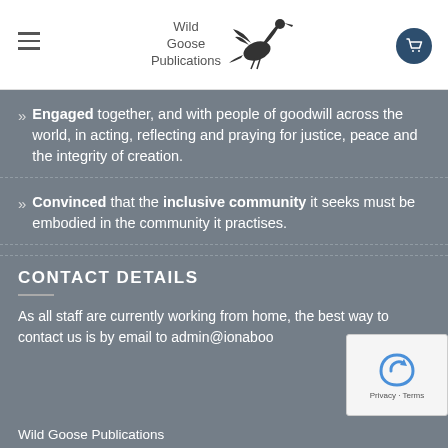Wild Goose Publications
Engaged together, and with people of goodwill across the world, in acting, reflecting and praying for justice, peace and the integrity of creation.
Convinced that the inclusive community it seeks must be embodied in the community it practises.
CONTACT DETAILS
As all staff are currently working from home, the best way to contact us is by email to admin@ionaboo
Wild Goose Publications